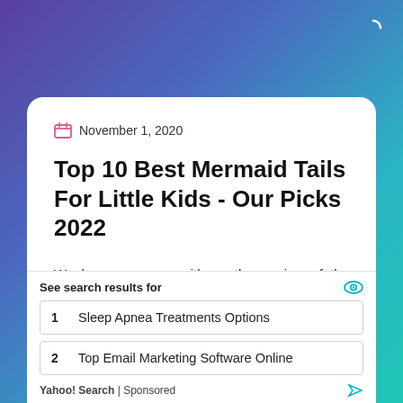[Figure (screenshot): Gradient background with purple to teal colors]
November 1, 2020
Top 10 Best Mermaid Tails For Little Kids - Our Picks 2022
We have come up with another review of the best mermaid tails for little kids available in the
See search results for
1  Sleep Apnea Treatments Options
2  Top Email Marketing Software Online
Yahoo! Search | Sponsored